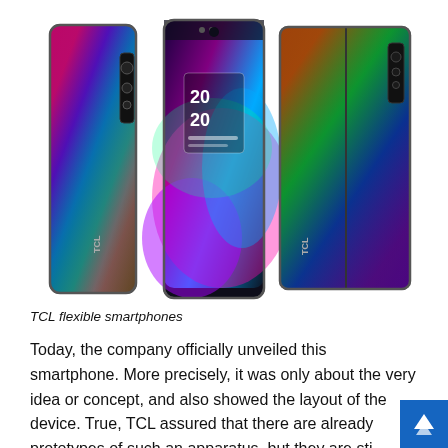[Figure (photo): Three views of TCL flexible smartphones showing two closed/folded phone designs (front and back) and one unfolded/expanded device with a colorful display showing '2020' on screen. The phones have iridescent rainbow-metallic finishes and dark bodies with the TCL logo.]
TCL flexible smartphones
Today, the company officially unveiled this smartphone. More precisely, it was only about the very idea or concept, and also showed the layout of the device. True, TCL assured that there are already prototypes of such an apparatus, but they are sti…